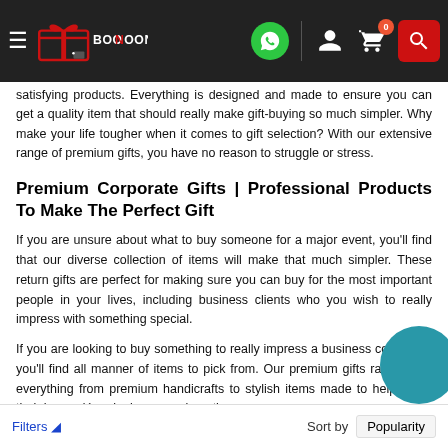[Figure (screenshot): Boontoon e-commerce website header/navbar with hamburger menu, Boontoon logo, WhatsApp icon, user icon, cart icon with badge '0', and red search button]
satisfying products. Everything is designed and made to ensure you can get a quality item that should really make gift-buying so much simpler. Why make your life tougher when it comes to gift selection? With our extensive range of premium gifts, you have no reason to struggle or stress.
Premium Corporate Gifts | Professional Products To Make The Perfect Gift
If you are unsure about what to buy someone for a major event, you'll find that our diverse collection of items will make that much simpler. These return gifts are perfect for making sure you can buy for the most important people in your lives, including business clients who you wish to really impress with something special.
If you are looking to buy something to really impress a business colleague, you'll find all manner of items to pick from. Our premium gifts range from everything from premium handicrafts to stylish items made to help make their home décor look more unique than
Filters  Sort by  Popularity